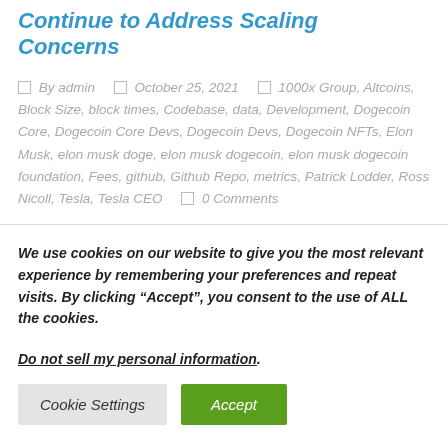Continue to Address Scaling Concerns
By admin  October 25, 2021  1000x Group, Altcoins, Block Size, block times, Codebase, data, Development, Dogecoin Core, Dogecoin Core Devs, Dogecoin Devs, Dogecoin NFTs, Elon Musk, elon musk doge, elon musk dogecoin, elon musk dogecoin foundation, Fees, github, Github Repo, metrics, Patrick Lodder, Ross Nicoll, Tesla, Tesla CEO  0 Comments
We use cookies on our website to give you the most relevant experience by remembering your preferences and repeat visits. By clicking “Accept”, you consent to the use of ALL the cookies.
Do not sell my personal information.